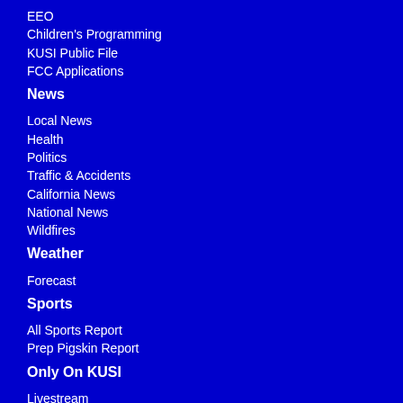EEO
Children's Programming
KUSI Public File
FCC Applications
News
Local News
Health
Politics
Traffic & Accidents
California News
National News
Wildfires
Weather
Forecast
Sports
All Sports Report
Prep Pigskin Report
Only On KUSI
Livestream
Community Heroes
Dave's World Of Wonder
Family Business
Good Morning San Diego